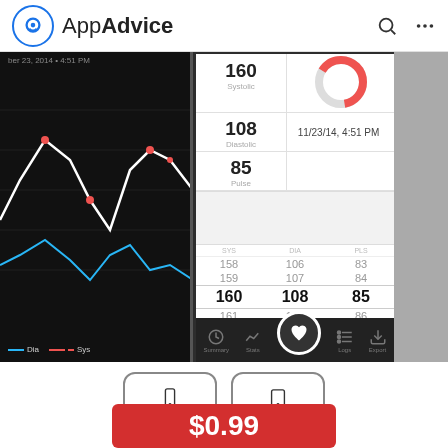AppAdvice
[Figure (screenshot): Two mobile app screenshots showing a blood pressure tracking app. Left screenshot shows a dark-themed line chart with red (Sys) and blue (Dia) lines. Center screenshot shows a white-themed detail view with readings: 160 Systolic, 108 Diastolic, 85 Pulse, date 11/23/14 4:51 PM, and a scroll picker with values 158/106/83, 159/107/84, 160/108/85 (selected), 161/109/86, 162/110/87, plus a bottom tab bar with Summary, Stats, heart icon, Logs, Export.]
iPhone
iPad
$0.99